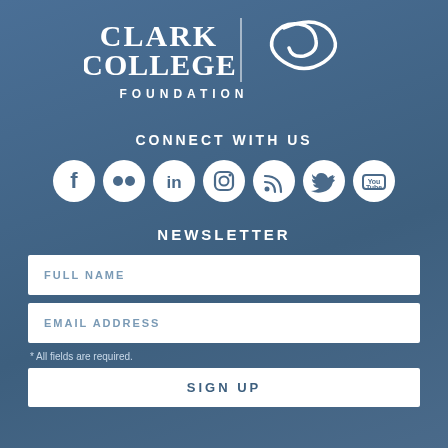[Figure (logo): Clark College Foundation logo with spiral graphic in white on blue background]
CONNECT WITH US
[Figure (infographic): Row of 7 white circular social media icons: Facebook, Flickr, LinkedIn, Instagram, RSS, Twitter, YouTube]
NEWSLETTER
FULL NAME
EMAIL ADDRESS
* All fields are required.
SIGN UP